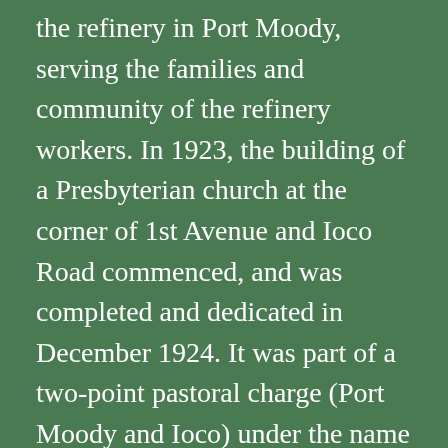the refinery in Port Moody, serving the families and community of the refinery workers. In 1923, the building of a Presbyterian church at the corner of 1st Avenue and Ioco Road commenced, and was completed and dedicated in December 1924. It was part of a two-point pastoral charge (Port Moody and Ioco) under the name St. Andrew's and legend has it that the one minister used to conduct a service at one of the churches and then row a boat across the Inlet to lead a second service at the other church!
In 1925, the pastoral charge joined